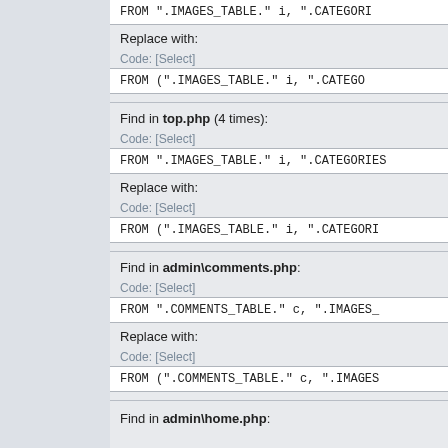FROM ".IMAGES_TABLE." i, ".CATEGORI
Replace with:
Code: [Select]
FROM (".IMAGES_TABLE." i, ".CATEGO
Find in top.php (4 times):
Code: [Select]
FROM ".IMAGES_TABLE." i, ".CATEGORIES
Replace with:
Code: [Select]
FROM (".IMAGES_TABLE." i, ".CATEGORI
Find in admin\comments.php:
Code: [Select]
FROM ".COMMENTS_TABLE." c, ".IMAGES_
Replace with:
Code: [Select]
FROM (".COMMENTS_TABLE." c, ".IMAGES
Find in admin\home.php: